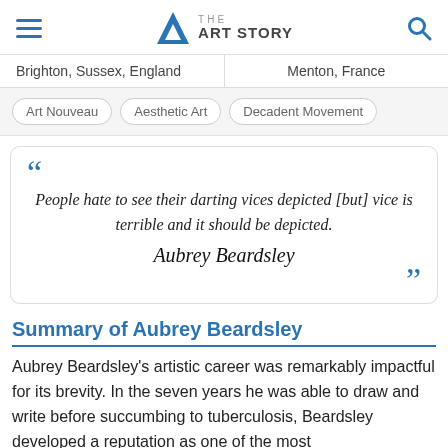THE ART STORY
Brighton, Sussex, England | Menton, France
Art Nouveau
Aesthetic Art
Decadent Movement
People hate to see their darting vices depicted [but] vice is terrible and it should be depicted. — Aubrey Beardsley
Summary of Aubrey Beardsley
Aubrey Beardsley's artistic career was remarkably impactful for its brevity. In the seven years he was able to draw and write before succumbing to tuberculosis, Beardsley developed a reputation as one of the most